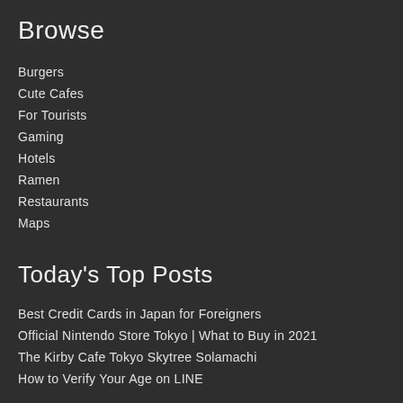Browse
Burgers
Cute Cafes
For Tourists
Gaming
Hotels
Ramen
Restaurants
Maps
Today's Top Posts
Best Credit Cards in Japan for Foreigners
Official Nintendo Store Tokyo | What to Buy in 2021
The Kirby Cafe Tokyo Skytree Solamachi
How to Verify Your Age on LINE